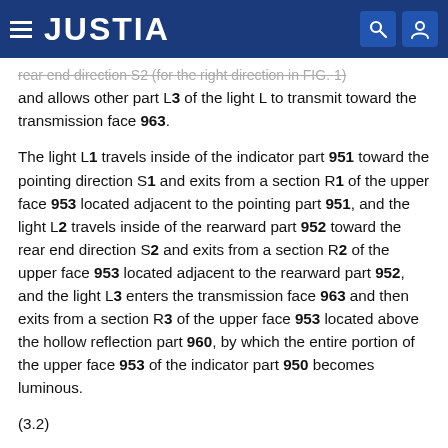JUSTIA
rear end direction S2 (for the right direction in FIG. 1) and allows other part L3 of the light L to transmit toward the transmission face 963.
The light L1 travels inside of the indicator part 951 toward the pointing direction S1 and exits from a section R1 of the upper face 953 located adjacent to the pointing part 951, and the light L2 travels inside of the rearward part 952 toward the rear end direction S2 and exits from a section R2 of the upper face 953 located adjacent to the rearward part 952, and the light L3 enters the transmission face 963 and then exits from a section R3 of the upper face 953 located above the hollow reflection part 960, by which the entire portion of the upper face 953 of the indicator part 950 becomes luminous.
(3.2)